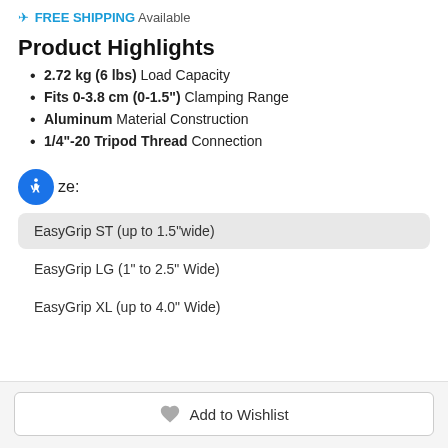✈ FREE SHIPPING Available
Product Highlights
2.72 kg (6 lbs) Load Capacity
Fits 0-3.8 cm (0-1.5") Clamping Range
Aluminum Material Construction
1/4"-20 Tripod Thread Connection
Size:
EasyGrip ST (up to 1.5"wide)
EasyGrip LG (1" to 2.5" Wide)
EasyGrip XL (up to 4.0" Wide)
Add to Wishlist